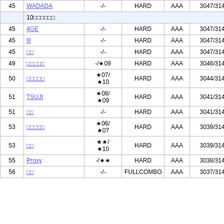| Rank | Name | Diff | Mode | Grade | Score |
| --- | --- | --- | --- | --- | --- |
| 45 | WADADA | -/- | HARD | AAA | 3047/3144(96.91%) |
| 45 | 10□□□□□□ |  |  |  |  |
| 45 | 4GE | -/- | HARD | AAA | 3047/3144(96.91%) |
| 45 | Ill | -/- | HARD | AAA | 3047/3144(96.91%) |
| 45 | □□ | -/- | HARD | AAA | 3047/3144(96.91%) |
| 49 | □□□□□ | -/★09 | HARD | AAA | 3046/3144(96.88%) |
| 50 | □□□□□ | ★07/★10 | HARD | AAA | 3044/3144(96.81%) |
| 51 | TSUJI | ★08/★09 | HARD | AAA | 3041/3144(96.72%) |
| 51 | □□ | -/- | HARD | AAA | 3041/3144(96.72%) |
| 53 | □□□□□ | ★06/★07 | HARD | AAA | 3039/3144(96.66%) |
| 53 | □□ | ★★/★10 | HARD | AAA | 3039/3144(96.66%) |
| 55 | Proxy | -/★★ | HARD | AAA | 3038/3144(96.62%) |
| 56 | □□ | -/- | FULLCOMBO | AAA | 3037/3144(96.59%) |